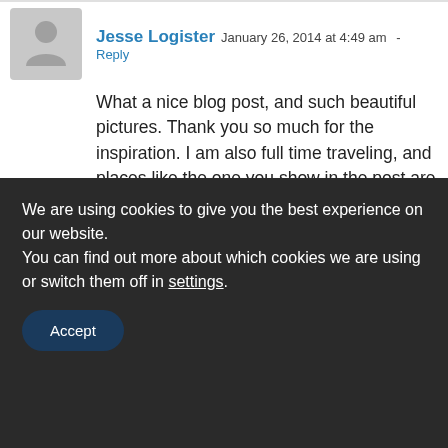[Figure (illustration): Grey avatar placeholder icon showing a generic person silhouette]
Jesse Logister  January 26, 2014 at 4:49 am - Reply
What a nice blog post, and such beautiful pictures. Thank you so much for the inspiration. I am also full time traveling, and places like the one you show in the post are the reason why I get up out of bed every day, to explore the world, motivated to discover and being amazed.
I always love places which are not easy to reach and make me feel like I am at the
We are using cookies to give you the best experience on our website.
You can find out more about which cookies we are using or switch them off in settings.